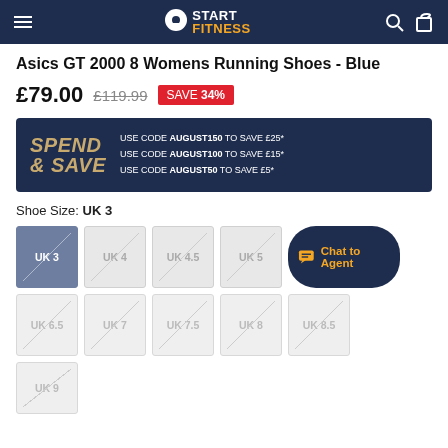Start Fitness — navigation header with logo, search and bag icons
Asics GT 2000 8 Womens Running Shoes - Blue
£79.00  £119.99  SAVE 34%
[Figure (infographic): Spend & Save promotional banner: USE CODE AUGUST150 TO SAVE £25*, USE CODE AUGUST100 TO SAVE £15*, USE CODE AUGUST50 TO SAVE £5*]
Shoe Size: UK 3
Size options: UK 3 (selected), UK 4, UK 4.5, UK 5, UK 6.5, UK 7, UK 7.5, UK 8, UK 8.5, UK 9 — all crossed out (unavailable)